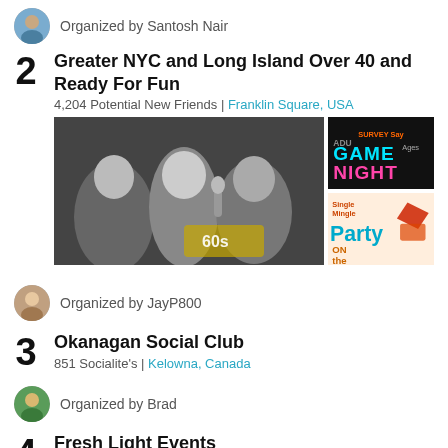Organized by Santosh Nair
2 Greater NYC and Long Island Over 40 and Ready For Fun
4,204 Potential New Friends | Franklin Square, USA
[Figure (photo): Black and white photo of a group of people at a 60s themed event, with colorful event poster images on the right side]
Organized by JayP800
3 Okanagan Social Club
851 Socialite's | Kelowna, Canada
Organized by Brad
4 Fresh Light Events
519 Members | London, United Kingdom